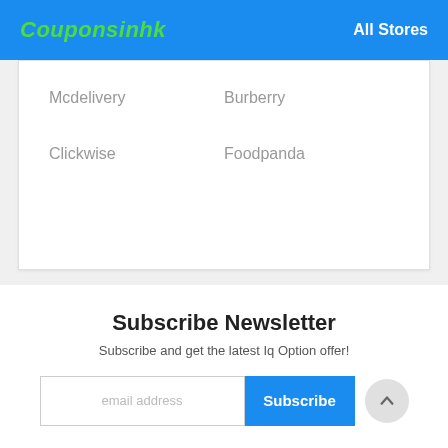Couponsinhk | All Stores
Mcdelivery
Burberry
Clickwise
Foodpanda
Subscribe Newsletter
Subscribe and get the latest Iq Option offer!
email address
Subscribe